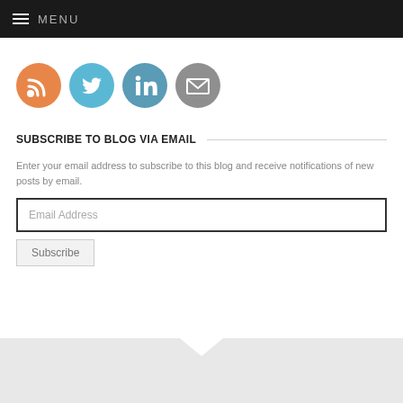MENU
[Figure (illustration): Four social media icon circles: RSS (orange), Twitter (blue), LinkedIn (blue-grey), Email (grey)]
SUBSCRIBE TO BLOG VIA EMAIL
Enter your email address to subscribe to this blog and receive notifications of new posts by email.